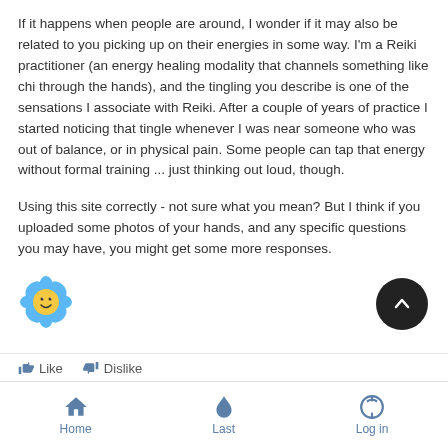If it happens when people are around, I wonder if it may also be related to you picking up on their energies in some way. I'm a Reiki practitioner (an energy healing modality that channels something like chi through the hands), and the tingling you describe is one of the sensations I associate with Reiki. After a couple of years of practice I started noticing that tingle whenever I was near someone who was out of balance, or in physical pain. Some people can tap that energy without formal training ... just thinking out loud, though.
Using this site correctly - not sure what you mean? But I think if you uploaded some photos of your hands, and any specific questions you may have, you might get some more responses.
[Figure (illustration): Flower emoji avatar with smiley face]
[Figure (illustration): Back-to-top circular dark button with upward chevron arrow]
Like   Dislike
Home   Last   Log in